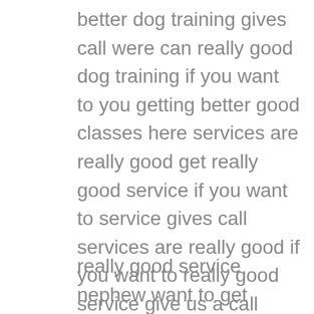better dog training gives call were can really good dog training if you want to you getting better good classes here services are really good get really good service if you want to service gives call services are really good if you want to really good service give us a call were can the service ever if you want to get really good service give us a call were to get better service now you want to get really good service give us a call were to get
really good service nephew want to get better service gives call were to get really good service now you want to get service